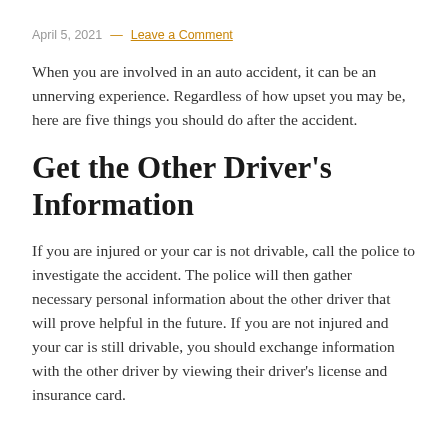April 5, 2021 — Leave a Comment
When you are involved in an auto accident, it can be an unnerving experience. Regardless of how upset you may be, here are five things you should do after the accident.
Get the Other Driver's Information
If you are injured or your car is not drivable, call the police to investigate the accident. The police will then gather necessary personal information about the other driver that will prove helpful in the future. If you are not injured and your car is still drivable, you should exchange information with the other driver by viewing their driver's license and insurance card.